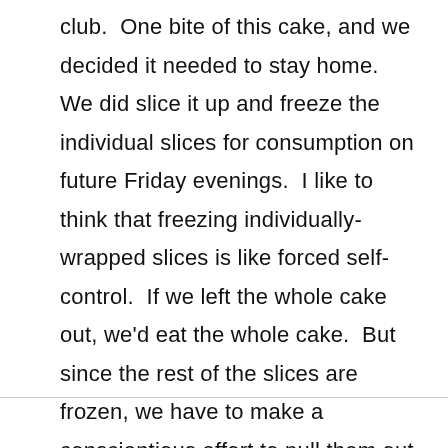club.  One bite of this cake, and we decided it needed to stay home.  We did slice it up and freeze the individual slices for consumption on future Friday evenings.  I like to think that freezing individually-wrapped slices is like forced self-control.  If we left the whole cake out, we'd eat the whole cake.  But since the rest of the slices are frozen, we have to make a conscientious effort to pull them out for dessert.  That is, unless you want to eat frozen cake...